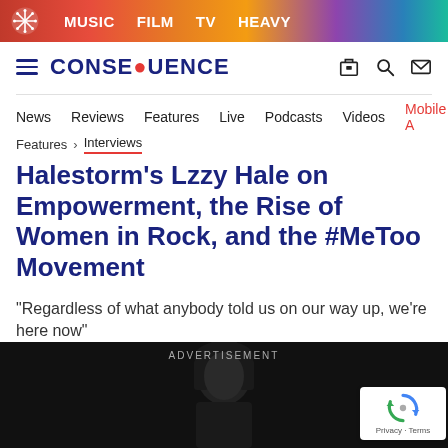MUSIC  FILM  TV  HEAVY
CONSEQUENCE
News  Reviews  Features  Live  Podcasts  Videos  Mobile A
Features > Interviews
Halestorm's Lzzy Hale on Empowerment, the Rise of Women in Rock, and the #MeToo Movement
"Regardless of what anybody told us on our way up, we're here now"
[Figure (photo): Black and white photo of a woman with dark hair and bangs against a dark background, with an advertisement overlay label and a reCAPTCHA badge in the bottom right corner.]